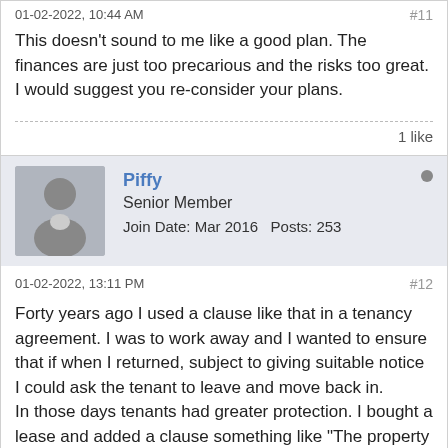01-02-2022, 10:44 AM  #11
This doesn't sound to me like a good plan. The finances are just too precarious and the risks too great. I would suggest you re-consider your plans.
1 like
Piffy
Senior Member
Join Date: Mar 2016   Posts: 253
01-02-2022, 13:11 PM  #12
Forty years ago I used a clause like that in a tenancy agreement. I was to work away and I wanted to ensure that if when I returned, subject to giving suitable notice I could ask the tenant to leave and move back in.
In those days tenants had greater protection. I bought a lease and added a clause something like "The property is the home of the Landlord and it is rented out on the understanding that should the landlord want to occupy the premises again for his own use, subject to the 6 month notice the tenant will vacate so the landlord